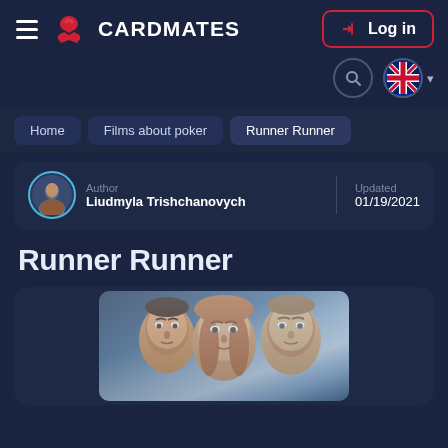CARDMATES
Log in
Home
Films about poker
Runner Runner
Author
Liudmyla Trishchanovych
Updated
01/19/2021
Runner Runner
[Figure (photo): Movie poster for Runner Runner showing three faces — two men and a woman in the center, with a blue tinted background]